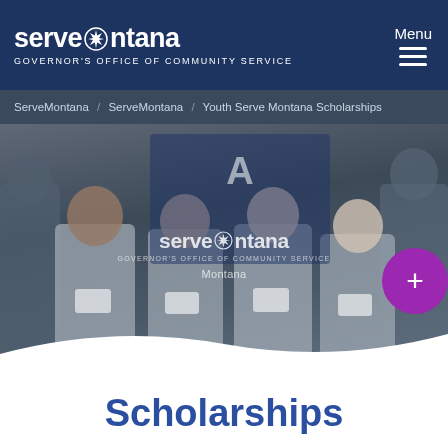servemontana GOVERNOR'S OFFICE OF COMMUNITY SERVICE | Menu
ServeMontana / ServeMontana / Youth Serve Montana Scholarships
[Figure (photo): Group photo of several young AmeriCorps members in matching grey jackets with name badges, seated and smiling in front of a ServeMontana banner. An AmeriCorps logo is visible in the background. A ServeMontana logo watermark overlays the center of the image.]
Youth Serve Montana Scholarships